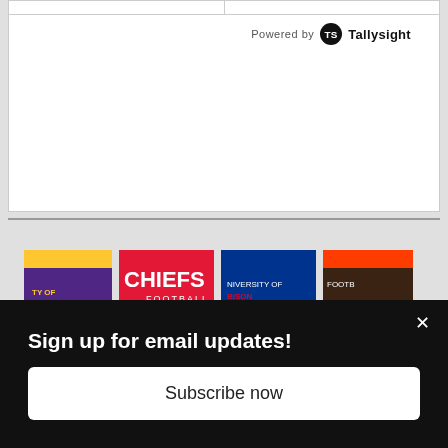[Figure (screenshot): White card area with Powered by Tallysight branding and a top row divided into two columns]
[Figure (photo): Row of NFL team banners/flags including Vikings, Chiefs, Bills, and Browns]
Sign up for email updates!
Subscribe now